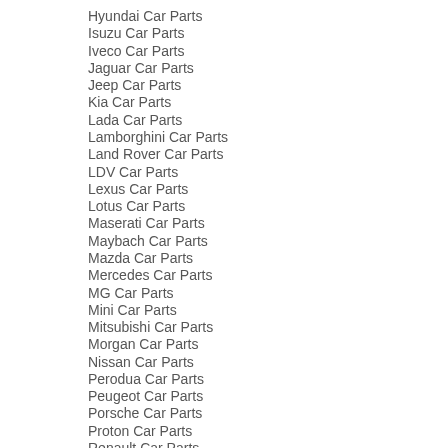Hyundai Car Parts
Isuzu Car Parts
Iveco Car Parts
Jaguar Car Parts
Jeep Car Parts
Kia Car Parts
Lada Car Parts
Lamborghini Car Parts
Land Rover Car Parts
LDV Car Parts
Lexus Car Parts
Lotus Car Parts
Maserati Car Parts
Maybach Car Parts
Mazda Car Parts
Mercedes Car Parts
MG Car Parts
Mini Car Parts
Mitsubishi Car Parts
Morgan Car Parts
Nissan Car Parts
Perodua Car Parts
Peugeot Car Parts
Porsche Car Parts
Proton Car Parts
Renault Car Parts
Rolls Royce Car Parts
Rover Car Parts
Saab Car Parts
Seat Car Parts
Skoda Car Parts
Smart Car Parts